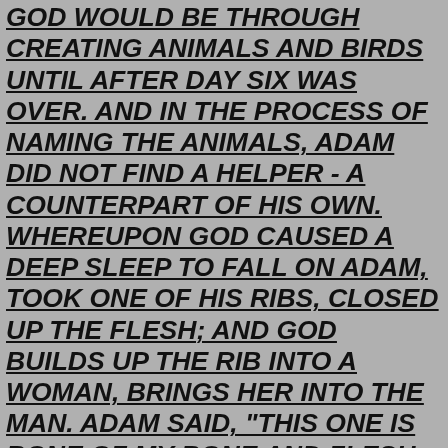GOD WOULD BE THROUGH CREATING ANIMALS AND BIRDS UNTIL AFTER DAY SIX WAS OVER. AND IN THE PROCESS OF NAMING THE ANIMALS, ADAM DID NOT FIND A HELPER - A COUNTERPART OF HIS OWN. WHEREUPON GOD CAUSED A DEEP SLEEP TO FALL ON ADAM, TOOK ONE OF HIS RIBS, CLOSED UP THE FLESH; AND GOD BUILDS UP THE RIB INTO A WOMAN, BRINGS HER INTO THE MAN. ADAM SAID, "THIS ONE IS BONE OF MY BONE AND FLESH OF MY FLESH; THIS ONE WILL BE CALLED WOMAN, FOR SHE WAS TAKEN FROM MAN." THEREFORE, IT WAS DECLARED A